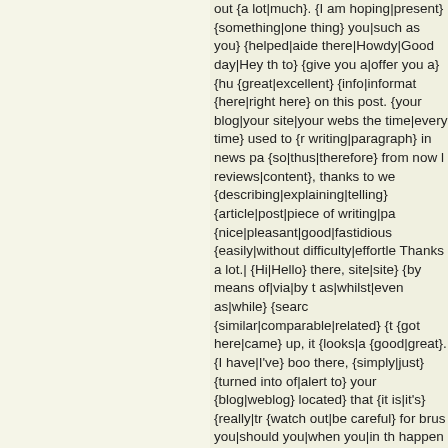out {a lot|much}. {I am hoping|present} {something|one thing} you|such as you} {helped|aide there|Howdy|Good day|Hey th to} {give you a|offer you a} {hu {great|excellent} {info|informat {here|right here} on this post. {your blog|your site|your webs the time|every time} used to {r writing|paragraph} in news pa {so|thus|therefore} from now l reviews|content}, thanks to we {describing|explaining|telling} {article|post|piece of writing|pa {nice|pleasant|good|fastidious {easily|without difficulty|effortle Thanks a lot.| {Hi|Hello} there, site|site} {by means of|via|by t as|whilst|even as|while} {searc {similar|comparable|related} {t {got here|came} up, it {looks|a {good|great}. {I have|I've} boo there, {simply|just} {turned into of|alert to} your {blog|weblog} located} that {it is|it's} {really|tr {watch out|be careful} for brus you|should you|when you|in th happen to} {continue|proceed} {other folks|folks|other people| be|can be|will likely be} benefi